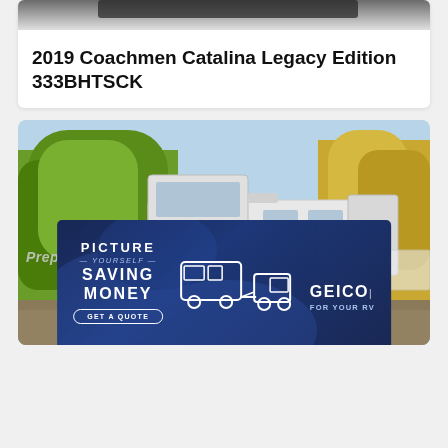2019 Coachmen Catalina Legacy Edition 333BHTSCK
[Figure (photo): Photo of a white Sunseeker class C motorhome RV parked outdoors surrounded by green and yellow autumn trees]
Prep
[Figure (photo): GEICO advertisement banner with dark blue background showing text: PICTURE YOURSELF SAVING MONEY - GET A QUOTE - GEICO FOR YOUR RV, with graphic of RV being towed by a truck]